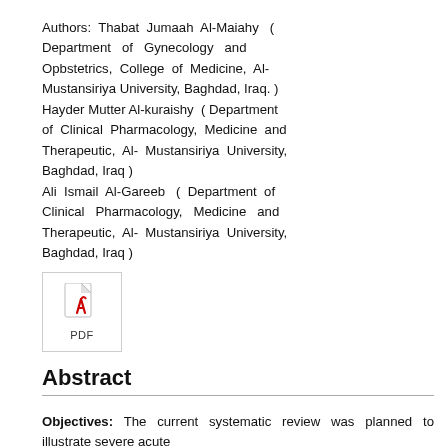Authors: Thabat Jumaah Al-Maiahy ( Department of Gynecology and Opbstetrics, College of Medicine, Al-Mustansiriya University, Baghdad, Iraq. ) Hayder Mutter Al-kuraishy ( Department of Clinical Pharmacology, Medicine and Therapeutic, Al- Mustansiriya University, Baghdad, Iraq ) Ali Ismail Al-Gareeb ( Department of Clinical Pharmacology, Medicine and Therapeutic, Al- Mustansiriya University, Baghdad, Iraq )
[Figure (other): PDF icon — red Adobe-style PDF symbol with 'PDF' label below, inside a bordered box]
Abstract
Objectives: The current systematic review was planned to illustrate severe acute